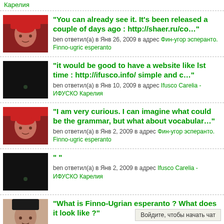Карелия
"You can already see it. It's been released a couple of days ago : http://shaer.ru/co…" ben ответил(а) в Янв 26, 2009 в адрес Фин-угор эсперанто. Finno-ugric esperanto
"it would be good to have a website like lst time : http://ifusco.info/ simple and c…" ben ответил(а) в Янв 10, 2009 в адрес Ifusco Carelia - ИФУСКО Карелия
"I am very curious. I can imagine what could be the grammar, but what about vocabular…" ben ответил(а) в Янв 2, 2009 в адрес Фин-угор эсперанто. Finno-ugric esperanto
"" ben ответил(а) в Янв 2, 2009 в адрес Ifusco Carelia - ИФУСКО Карелия
"What is Finno-Ugrian esperanto ? What does it look like ?"
Войдите, чтобы начать чат